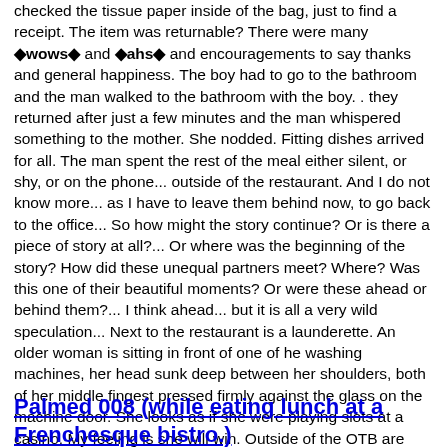checked the tissue paper inside of the bag, just to find a receipt. The item was returnable? There were many ïwowsï and ïahsï and encouragements to say thanks and general happiness. The boy had to go to the bathroom and the man walked to the bathroom with the boy. . they returned after just a few minutes and the man whispered something to the mother. She nodded. Fitting dishes arrived for all. The man spent the rest of the meal either silent, or shy, or on the phone... outside of the restaurant. And I do not know more... as I have to leave them behind now, to go back to the office... So how might the story continue? Or is there a piece of story at all?... Or where was the beginning of the story? How did these unequal partners meet? Where? Was this one of their beautiful moments? Or were these ahead or behind them?... I think ahead... but it is all a very wild speculation... Next to the restaurant is a launderette. An older woman is sitting in front of one of he washing machines, her head sunk deep between her shoulders, both of her middle fingest pressed firmly against the glass on the machine door. She looks as if she were playing slots at a casino. My feeling is she will win. Outside of the OTB are lines of old men, some in wheelchairs, one with his visiting nurse, I guess. They seem to be waiting for some sort of results. One of the men is clenching to a little book filled with tables of numbers.
Palmed 008 (while eating lunch at a Frenchesque bistro.)